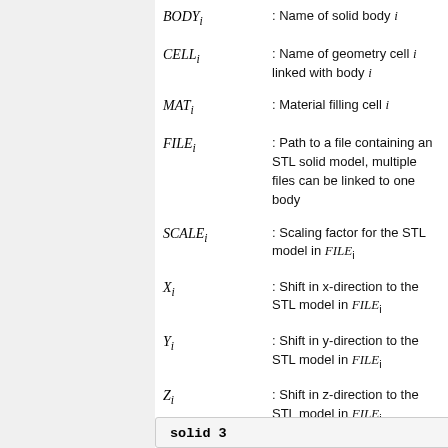BODY_i : Name of solid body i
CELL_i : Name of geometry cell i linked with body i
MAT_i : Material filling cell i
FILE_i : Path to a file containing an STL solid model, multiple files can be linked to one body
SCALE_i : Scaling factor for the STL model in FILE_i
X_i : Shift in x-direction to the STL model in FILE_i
Y_i : Shift in y-direction to the STL model in FILE_i
Z_i : Shift in z-direction to the STL model in FILE_i
solid 3